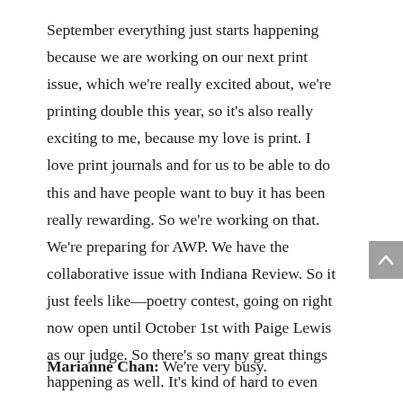September everything just starts happening because we are working on our next print issue, which we're really excited about, we're printing double this year, so it's also really exciting to me, because my love is print. I love print journals and for us to be able to do this and have people want to buy it has been really rewarding. So we're working on that. We're preparing for AWP. We have the collaborative issue with Indiana Review. So it just feels like—poetry contest, going on right now open until October 1st with Paige Lewis as our judge. So there's so many great things happening as well. It's kind of hard to even think about it myself.
Marianne Chan: We're very busy.